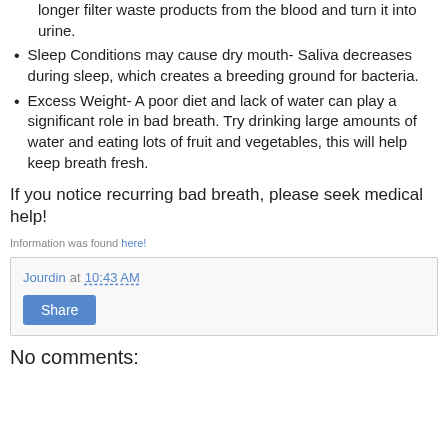longer filter waste products from the blood and turn it into urine.
Sleep Conditions may cause dry mouth- Saliva decreases during sleep, which creates a breeding ground for bacteria.
Excess Weight- A poor diet and lack of water can play a significant role in bad breath. Try drinking large amounts of water and eating lots of fruit and vegetables, this will help keep breath fresh.
If you notice recurring bad breath, please seek medical help!
Information was found here!
Jourdin at 10:43 AM
Share
No comments: